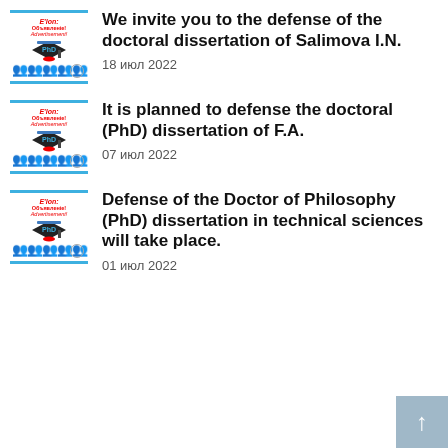[Figure (illustration): Thumbnail image with blue top/bottom borders, red text 'E'lon! Объявление! Advertisement!', PhD graduation cap graphic, and row of people silhouettes.]
We invite you to the defense of the doctoral dissertation of Salimova I.N.
18 июл 2022
[Figure (illustration): Thumbnail image with blue top/bottom borders, red text 'E'lon! Объявление! Advertisement!', PhD graduation cap graphic, and row of people silhouettes.]
It is planned to defense the doctoral (PhD) dissertation of F.A.
07 июл 2022
[Figure (illustration): Thumbnail image with blue top/bottom borders, red text 'E'lon! Объявление! Advertisement!', PhD graduation cap graphic, and row of people silhouettes.]
Defense of the Doctor of Philosophy (PhD) dissertation in technical sciences will take place.
01 июл 2022